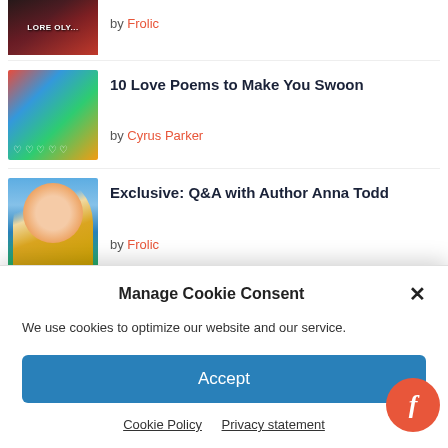[Figure (photo): Partial book cover for 'Lore Olympus' by Frolic — dark dramatic cover with red tones]
by Frolic
[Figure (photo): Colorful abstract heart illustration thumbnail for '10 Love Poems to Make You Swoon']
10 Love Poems to Make You Swoon
by Cyrus Parker
[Figure (photo): Photo of a blonde woman (Anna Todd) for Q&A article]
Exclusive: Q&A with Author Anna Todd
by Frolic
[Figure (photo): Light pink placeholder thumbnail for 'Fictional Parties We'd Love to Attend']
Fictional Parties We'd Love to Attend
Manage Cookie Consent
We use cookies to optimize our website and our service.
Accept
Cookie Policy   Privacy statement
[Figure (logo): Frolic website logo — red circle with white italic 'f']